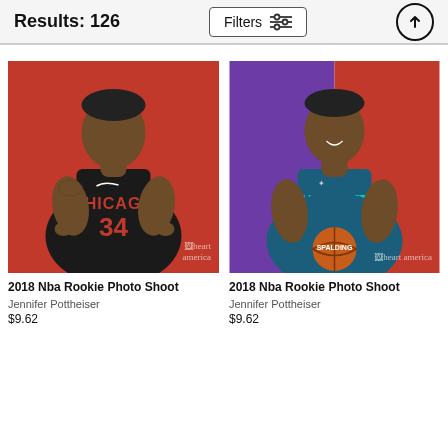Results: 126
[Figure (photo): NBA player in Chicago Bulls black jersey #34 posing with thumbs up against red background, 2018 NBA Rookie Photo Shoot, Fine Art America watermark]
2018 Nba Rookie Photo Shoot
Jennifer Pottheiser
$9.62
[Figure (photo): NBA player in Charlotte Hornets teal jersey #0 holding a Spalding basketball, smiling, purple/red background, 2018 NBA Rookie Photo Shoot, Fine Art America watermark]
2018 Nba Rookie Photo Shoot
Jennifer Pottheiser
$9.62